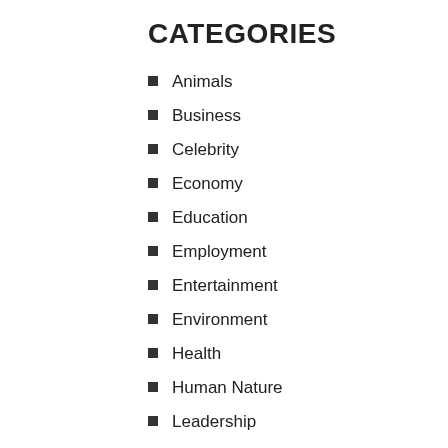CATEGORIES
Animals
Business
Celebrity
Economy
Education
Employment
Entertainment
Environment
Health
Human Nature
Leadership
Life Style
Living
Metro
Money
News